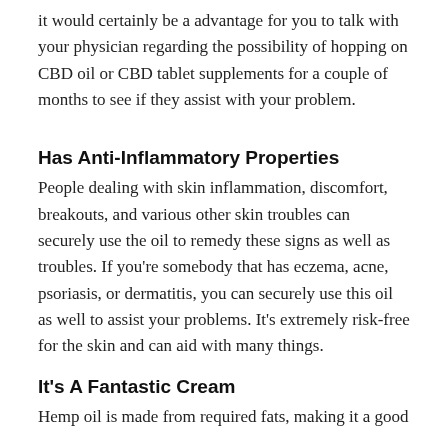it would certainly be a advantage for you to talk with your physician regarding the possibility of hopping on CBD oil or CBD tablet supplements for a couple of months to see if they assist with your problem.
Has Anti-Inflammatory Properties
People dealing with skin inflammation, discomfort, breakouts, and various other skin troubles can securely use the oil to remedy these signs as well as troubles. If you're somebody that has eczema, acne, psoriasis, or dermatitis, you can securely use this oil as well to assist your problems. It's extremely risk-free for the skin and can aid with many things.
It's A Fantastic Cream
Hemp oil is made from required fats, making it a good